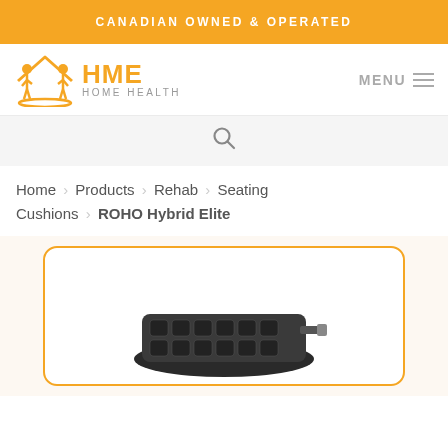CANADIAN OWNED & OPERATED
[Figure (logo): HME Home Health logo with orange figures icon and orange HME text with grey HOME HEALTH subtitle]
MENU
Search icon
Home > Products > Rehab > Seating Cushions > ROHO Hybrid Elite
[Figure (photo): ROHO Hybrid Elite seating cushion product photo inside orange-bordered rounded rectangle frame]